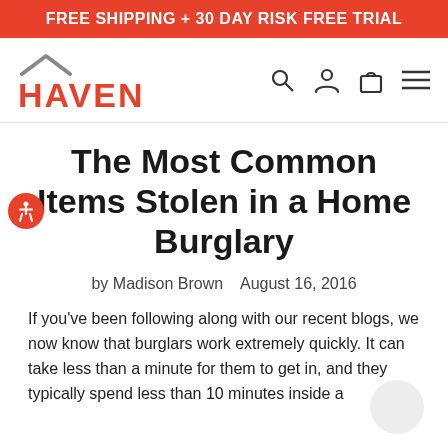FREE SHIPPING + 30 DAY RISK FREE TRIAL
[Figure (logo): Haven brand logo with roof icon above bold red HAVEN text, and navigation icons (search, user, cart, menu) on the right]
The Most Common Items Stolen in a Home Burglary
by Madison Brown   August 16, 2016
If you've been following along with our recent blogs, we now know that burglars work extremely quickly. It can take less than a minute for them to get in, and they typically spend less than 10 minutes inside a